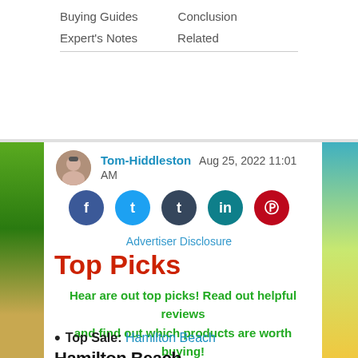Buying Guides   Conclusion
Expert's Notes   Related
Tom-Hiddleston  Aug 25, 2022 11:01 AM
[Figure (illustration): Row of five social media icon circles: Facebook (blue), Twitter (light blue), Tumblr (dark blue), LinkedIn (teal), Pinterest (red)]
Advertiser Disclosure
Top Picks
Hear are out top picks! Read out helpful reviews and find out which products are worth buying!
Top Sale: Hamilton Beach
[Figure (logo): Hamilton Beach logo in bold black text]
[Figure (photo): Partial product image at bottom of page]